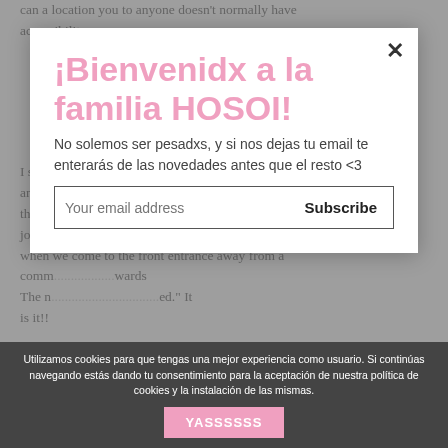can a location you to anyone doesn't normally have accessibility.
I stream a little across crowded mini-shuttle and then we every complain while we roll slower through the morning customers. I end across extended, shameful journey on distillery, but our company is happily surprised when we come to the front entrance away from a comm... The n... is it!!
¡Bienvenidx a la familia HOSOI!
No solemos ser pesadxs, y si nos dejas tu email te enterarás de las novedades antes que el resto <3
Your email address
Subscribe
The audience is come across aside top ... the Anthony Bento, Managing Manager out-of ADL The guy
Utilizamos cookies para que tengas una mejor experiencia como usuario. Si continúas navegando estás dando tu consentimiento para la aceptación de nuestra política de cookies y la instalación de las mismas.
YASSSSSS